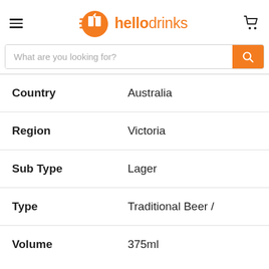hellodrinks – navigation header with hamburger menu, logo, and cart icon
What are you looking for?
| Attribute | Value |
| --- | --- |
| Country | Australia |
| Region | Victoria |
| Sub Type | Lager |
| Type | Traditional Beer / |
| Volume | 375ml |